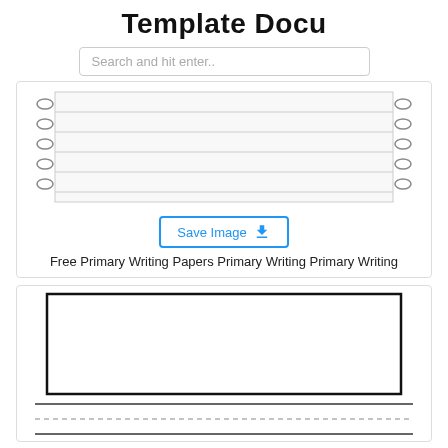Template Docu
Search and hit enter..
[Figure (illustration): A lined primary writing paper template with spiral binding on the left and right sides, showing multiple horizontal lines on a white background.]
Save Image
Free Primary Writing Papers Primary Writing Primary Writing
[Figure (illustration): A primary writing paper template with a large blank box at the top for drawing/illustration, followed by solid writing lines, a dashed midline, and a solid baseline below.]